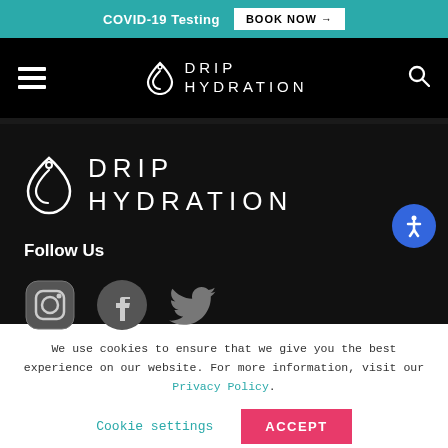COVID-19 Testing  BOOK NOW →
[Figure (logo): Drip Hydration logo with water drop icon in navigation bar]
[Figure (logo): Drip Hydration logo with water drop icon in footer section]
Follow Us
[Figure (illustration): Social media icons: Instagram, Facebook, Twitter]
We use cookies to ensure that we give you the best experience on our website. For more information, visit our Privacy Policy.
Cookie settings   ACCEPT